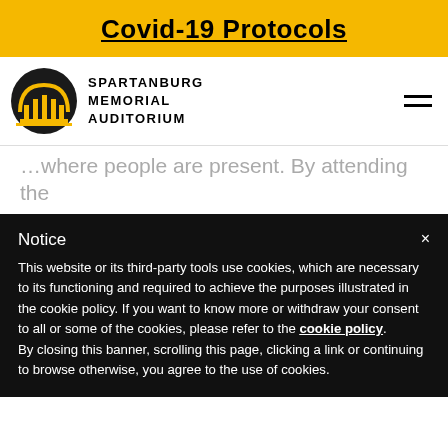Covid-19 Protocols
[Figure (logo): Spartanburg Memorial Auditorium logo — circular arch building icon with navigation hamburger menu]
…where people are present. By attending the Event, you and any guests voluntarily assume all risks related to exposure to COVID-19 and
Notice
This website or its third-party tools use cookies, which are necessary to its functioning and required to achieve the purposes illustrated in the cookie policy. If you want to know more or withdraw your consent to all or some of the cookies, please refer to the cookie policy.
By closing this banner, scrolling this page, clicking a link or continuing to browse otherwise, you agree to the use of cookies.